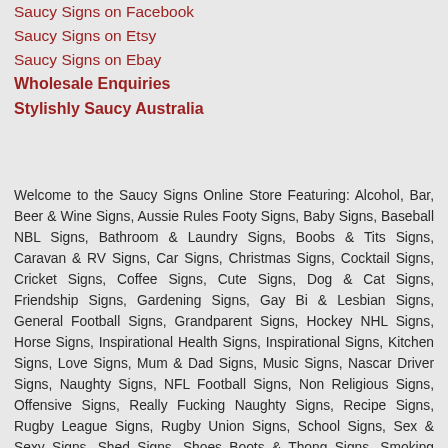Saucy Signs on Facebook
Saucy Signs on Etsy
Saucy Signs on Ebay
Wholesale Enquiries
Stylishly Saucy Australia
Welcome to the Saucy Signs Online Store Featuring: Alcohol, Bar, Beer & Wine Signs, Aussie Rules Footy Signs, Baby Signs, Baseball NBL Signs, Bathroom & Laundry Signs, Boobs & Tits Signs, Caravan & RV Signs, Car Signs, Christmas Signs, Cocktail Signs, Cricket Signs, Coffee Signs, Cute Signs, Dog & Cat Signs, Friendship Signs, Gardening Signs, Gay Bi & Lesbian Signs, General Football Signs, Grandparent Signs, Hockey NHL Signs, Horse Signs, Inspirational Health Signs, Inspirational Signs, Kitchen Signs, Love Signs, Mum & Dad Signs, Music Signs, Nascar Driver Signs, Naughty Signs, NFL Football Signs, Non Religious Signs, Offensive Signs, Really Fucking Naughty Signs, Recipe Signs, Rugby League Signs, Rugby Union Signs, School Signs, Sex & Sexy Signs, Shed Signs, Shoes Boots & Thong Signs, Smoking Signs, Soccer & Football Signs, Superhero Signs, Uncles & Aunt Signs, Warning Signs, Welcome Signs, Wife & Hubby Signs, Wedding Signs & Lots More!!!